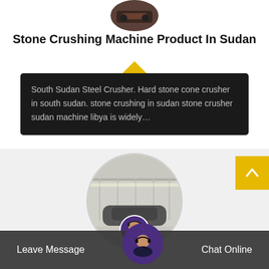[Figure (photo): Circular cropped photo of stone crushing machine at the top]
Stone Crushing Machine Product In Sudan
South Sudan Steel Crusher. Hard stone cone crusher in south sudan. stone crushing in sudan stone crusher sudan machine libya is widely…
[Figure (photo): Circular photo of warehouse interior with industrial machinery and a smaller inset circle showing a customer service representative with headset]
Leave Message   Chat Online